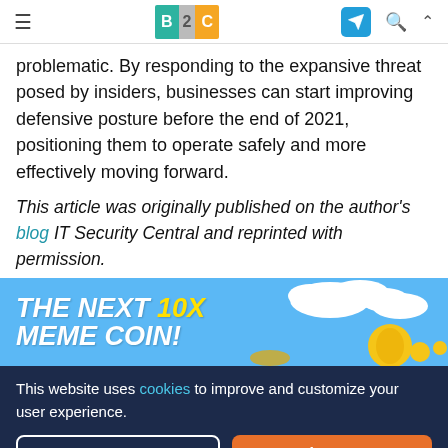B2C (Business 2 Community)
problematic. By responding to the expansive threat posed by insiders, businesses can start improving defensive posture before the end of 2021, positioning them to operate safely and more effectively moving forward.
This article was originally published on the author's blog IT Security Central and reprinted with permission.
[Figure (infographic): Advertisement banner with blue sky background, clouds, and coin graphics. Text reads: THE NEXT 10X MEME COIN!]
This website uses cookies to improve and customize your user experience.
Reject  Accept